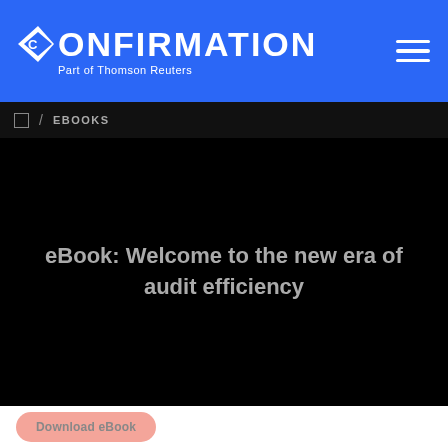CONFIRMATION Part of Thomson Reuters
EBOOKS
eBook: Welcome to the new era of audit efficiency
Download eBook